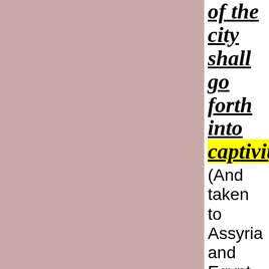of the city shall go forth into captivity, (And taken to Assyria and Egypt and other surrounding Muslim countries) and the